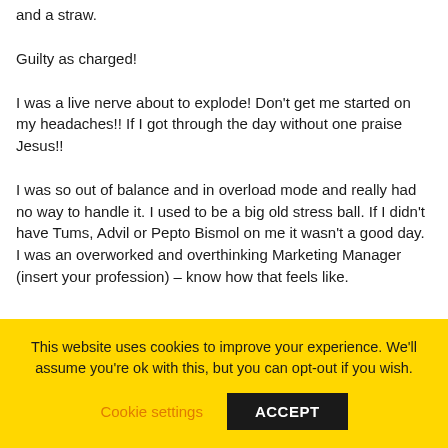and a straw.
Guilty as charged!
I was a live nerve about to explode! Don't get me started on my headaches!! If I got through the day without one praise Jesus!!
I was so out of balance and in overload mode and really had no way to handle it. I used to be a big old stress ball. If I didn't have Tums, Advil or Pepto Bismol on me it wasn't a good day. I was an overworked and overthinking Marketing Manager (insert your profession) – know how that feels like.
This website uses cookies to improve your experience. We'll assume you're ok with this, but you can opt-out if you wish.
Cookie settings
ACCEPT